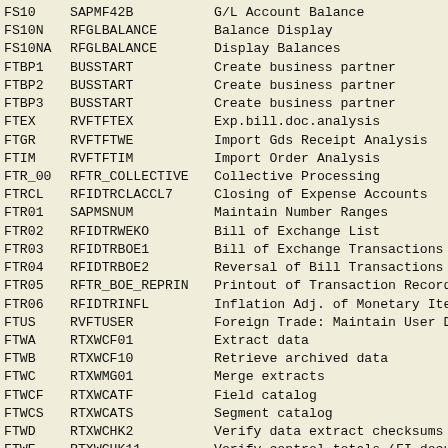| Transaction Code | Program | Description |
| --- | --- | --- |
| FS10 | SAPMF42B | G/L Account Balance |
| FS10N | RFGLBALANCE | Balance Display |
| FS10NA | RFGLBALANCE | Display Balances |
| FTBP1 | BUSSTART | Create business partner |
| FTBP2 | BUSSTART | Create business partner |
| FTBP3 | BUSSTART | Create business partner |
| FTEX | RVFTFTEX | Exp.bill.doc.analysis |
| FTGR | RVFTFTWE | Import Gds Receipt Analysis |
| FTIM | RVFTFTIM | Import Order Analysis |
| FTR_00 | RFTR_COLLECTIVE | Collective Processing |
| FTRCL | RFIDTRCLACCL7 | Closing of Expense Accounts |
| FTR01 | SAPMSNUM | Maintain Number Ranges |
| FTR02 | RFIDTRWEKO | Bill of Exchange List |
| FTR03 | RFIDTRBOE1 | Bill of Exchange Transactions |
| FTR04 | RFIDTRBOE2 | Reversal of Bill Transactions |
| FTR05 | RFTR_BOE_REPRIN | Printout of Transaction Records |
| FTR06 | RFIDTRINFL | Inflation Adj. of Monetary Items |
| FTUS | RVFTUSER | Foreign Trade: Maintain User Data |
| FTWA | RTXWCF01 | Extract data |
| FTWB | RTXWCF10 | Retrieve archived data |
| FTWC | RTXWMG01 | Merge extracts |
| FTWCF | RTXWCATF | Field catalog |
| FTWCS | RTXWCATS | Segment catalog |
| FTWD | RTXWCHK2 | Verify data extract checksums |
| FTWE | RTXWCHK11 | Verify control totals (FI documents |
| FTWE1 | RTXWCHK4 | Verify all FI control totals |
| FTWF | RTXWQU01 | Data extract browser |
| FTWH | RTXWQU03 | Data view queries |
| FTWI | RTXWBTCH | Create background job |
| FTWJ | RTXWDROP | Clear data retrieved from archives |